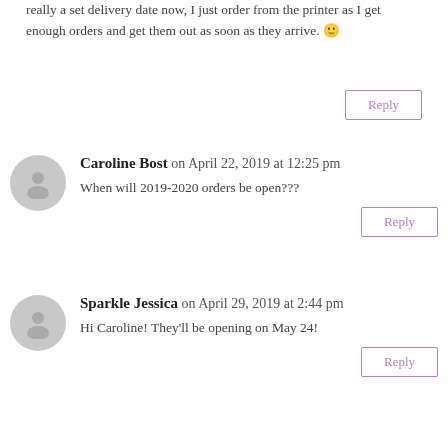really a set delivery date now, I just order from the printer as I get enough orders and get them out as soon as they arrive. 🙂
Reply
Caroline Bost on April 22, 2019 at 12:25 pm
When will 2019-2020 orders be open???
Reply
Sparkle Jessica on April 29, 2019 at 2:44 pm
Hi Caroline! They'll be opening on May 24!
Reply